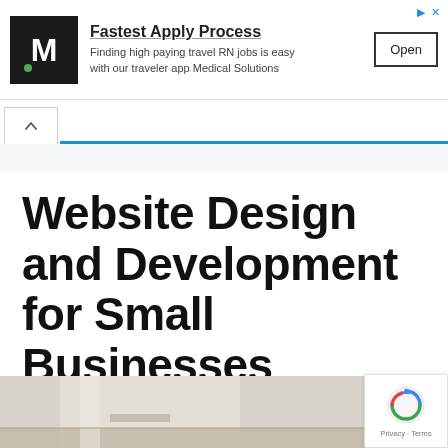[Figure (advertisement): Ad banner for Medical Solutions with M logo, 'Fastest Apply Process' headline, description about travel RN jobs, and Open button]
Website Design and Development for Small Businesses
March 24, 2022 by ploluadmin
[Figure (photo): Partial photo of a desk or workspace, bottom of page]